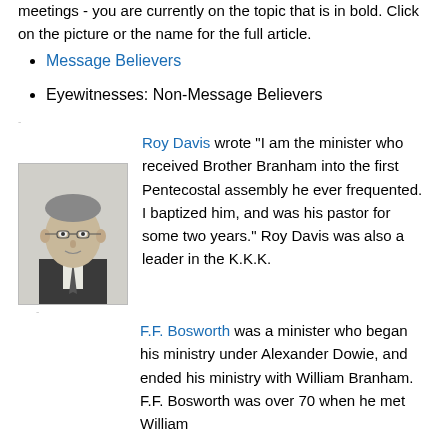meetings - you are currently on the topic that is in bold. Click on the picture or the name for the full article.
Message Believers
Eyewitnesses: Non-Message Believers
Roy Davis wrote "I am the minister who received Brother Branham into the first Pentecostal assembly he ever frequented. I baptized him, and was his pastor for some two years." Roy Davis was also a leader in the K.K.K.
F.F. Bosworth was a minister who began his ministry under Alexander Dowie, and ended his ministry with William Branham. F.F. Bosworth was over 70 when he met William